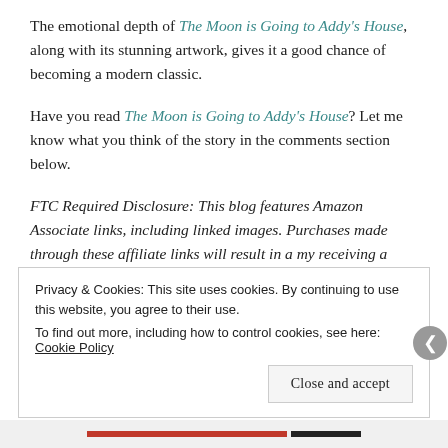The emotional depth of The Moon is Going to Addy's House, along with its stunning artwork, gives it a good chance of becoming a modern classic.
Have you read The Moon is Going to Addy's House? Let me know what you think of the story in the comments section below.
FTC Required Disclosure: This blog features Amazon Associate links, including linked images. Purchases made through these affiliate links will result in a my receiving a small commission. This applies to all products purchased at Amazon through the link, regardless of whether or not I've mentioned the product on this blog. All reviews are my own opinion. I am
Privacy & Cookies: This site uses cookies. By continuing to use this website, you agree to their use.
To find out more, including how to control cookies, see here: Cookie Policy